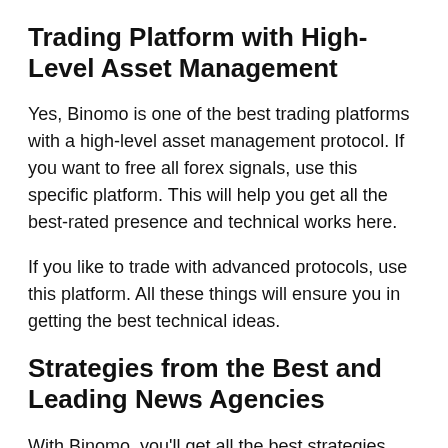Trading Platform with High-Level Asset Management
Yes, Binomo is one of the best trading platforms with a high-level asset management protocol. If you want to free all forex signals, use this specific platform. This will help you get all the best-rated presence and technical works here.
If you like to trade with advanced protocols, use this platform. All these things will ensure you in getting the best technical ideas.
Strategies from the Best and Leading News Agencies
With Binomo, you'll get all the best strategies from the best and leading news agencies. So, this will help you get